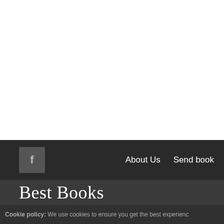f  About Us  Send book
Best Books
Cookie policy: We use cookies to ensure you get the best experienc